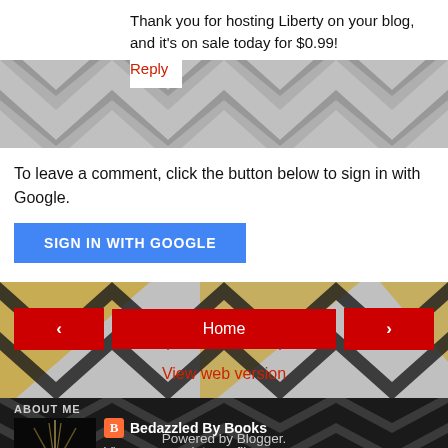Thank you for hosting Liberty on your blog, and it's on sale today for $0.99!
Reply
To leave a comment, click the button below to sign in with Google.
SIGN IN WITH GOOGLE
Home
View web version
ABOUT ME
[Figure (photo): Profile photo showing a glowing book with light emanating from it on dark background]
Bedazzled By Books
View my complete profile
Powered by Blogger.